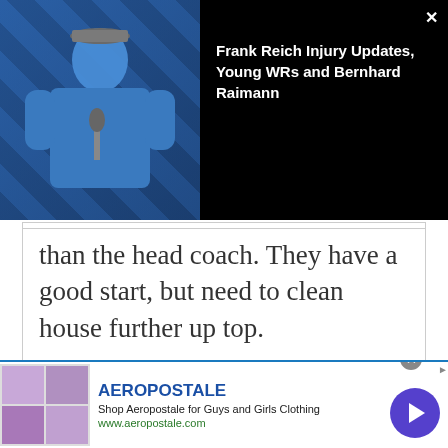[Figure (screenshot): Video overlay showing Frank Reich at a press conference with Colts branding in background. Video title reads: Frank Reich Injury Updates, Young WRs and Bernhard Raimann]
than the head coach. They have a good start, but need to clean house further up top.
Kevin Havens
December 31, 2013 at 9:01 am
[Figure (screenshot): Aeropostale advertisement banner showing clothing images, brand name, description and URL www.aeropostale.com]